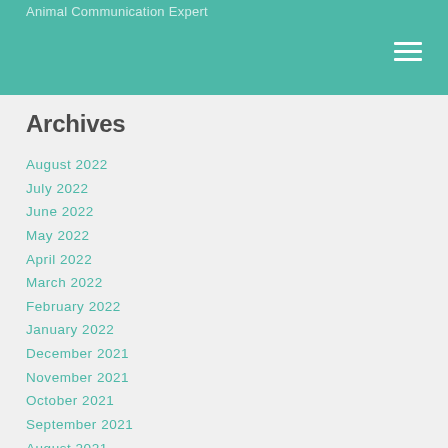Animal Communication Expert
Archives
August 2022
July 2022
June 2022
May 2022
April 2022
March 2022
February 2022
January 2022
December 2021
November 2021
October 2021
September 2021
August 2021
July 2021
June 2021
May 2021
April 2021
March 2021